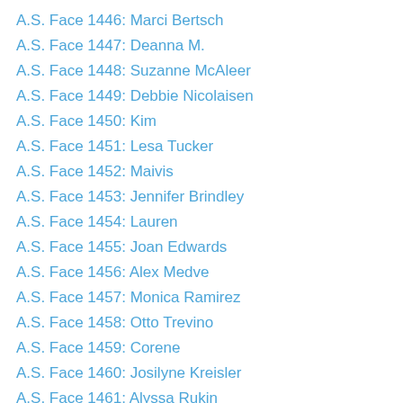A.S. Face 1446: Marci Bertsch
A.S. Face 1447: Deanna M.
A.S. Face 1448: Suzanne McAleer
A.S. Face 1449: Debbie Nicolaisen
A.S. Face 1450: Kim
A.S. Face 1451: Lesa Tucker
A.S. Face 1452: Maivis
A.S. Face 1453: Jennifer Brindley
A.S. Face 1454: Lauren
A.S. Face 1455: Joan Edwards
A.S. Face 1456: Alex Medve
A.S. Face 1457: Monica Ramirez
A.S. Face 1458: Otto Trevino
A.S. Face 1459: Corene
A.S. Face 1460: Josilyne Kreisler
A.S. Face 1461: Alyssa Rukin
A.S. Face 1462: Jeanette Kowalik
A.S. Face 1463: Ian
A.S. Face 1464: Kaz Connolly
A.S. Face 1465: Dayna Bramston